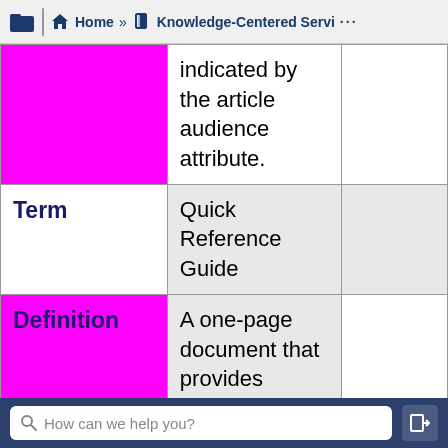Home » Knowledge-Centered Servi ...
|  |  |  |
| --- | --- | --- |
| (magenta) | indicated by the article audience attribute. |  |
| Term | Quick Reference Guide |  |
| Definition | A one-page document that provides knowledge workers with a brief overview of... |  |
How can we help you?